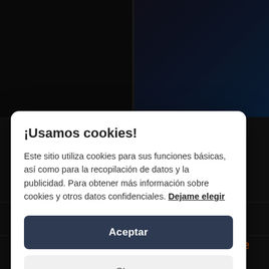[Figure (screenshot): Dark website background with forum rows at bottom showing user 'Xanceda', subject 'Re: Noticias HALESTORM', and 'Halestorm 3 - The M...' title]
¡Usamos cookies!
Este sitio utiliza cookies para sus funciones básicas, así como para la recopilación de datos y la publicidad. Para obtener más información sobre cookies y otros datos confidenciales. Dejame elegir
Aceptar
Close